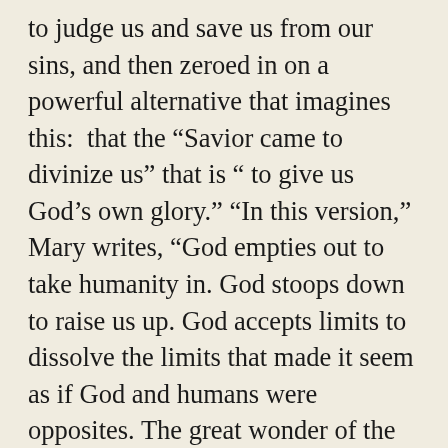to judge us and save us from our sins, and then zeroed in on a powerful alternative that imagines this:  that the “Savior came to divinize us” that is “ to give us God’s own glory.” “In this version,” Mary writes, “God empties out to take humanity in. God stoops down to raise us up. God accepts limits to dissolve the limits that made it seem as if God and humans were opposites. The great wonder of the Incarnation is that we’re not. If you believe this, then what you’re waiting for in Advent is not someone to fix us but someone to reveal us to ourselves.” She closes with this gem: “The gift on the horizon is not a moral course correction but a bright mirror, a gaze, a joyous shock of mutual recognition—look, there, the eternal resemblance, the beauty, the dignity, the